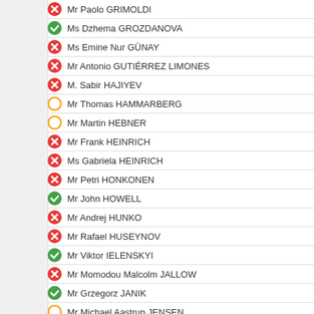Mr Paolo GRIMOLDI
Ms Dzhema GROZDANOVA
Ms Emine Nur GÜNAY
Mr Antonio GUTIÉRREZ LIMONES
M. Sabir HAJIYEV
Mr Thomas HAMMARBERG
Mr Martin HEBNER
Mr Frank HEINRICH
Ms Gabriela HEINRICH
Mr Petri HONKONEN
Mr John HOWELL
Mr Andrej HUNKO
Mr Rafael HUSEYNOV
Mr Viktor IELENSKYI
Mr Momodou Malcolm JALLOW
Mr Grzegorz JANIK
Mr Michael Aastrup JENSEN